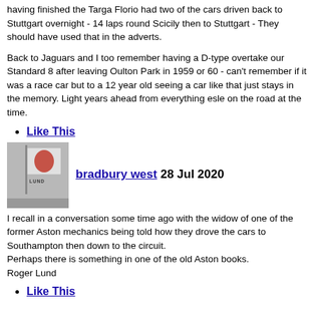having finished the Targa Florio had two of the cars driven back to Stuttgart overnight  - 14 laps round Scicily then to Stuttgart - They should have used that in the adverts.
Back to Jaguars and  I too remember having a D-type overtake our Standard 8 after leaving Oulton Park in 1959 or 60 - can't remember if it was a race car but to a 12 year old seeing a car like that  just stays in the memory. Light years ahead from everything esle on the road at the time.
Like This
[Figure (photo): User avatar image showing a flag with a red symbol on a pole, with text 'LUND' visible at the bottom of the flag.]
bradbury west 28 Jul 2020
I recall in a conversation some time ago with the widow of one of the former Aston mechanics being told how they drove the cars to Southampton then down to the circuit.
Perhaps there is something in one of the old Aston books.
Roger Lund
Like This